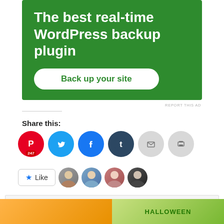[Figure (screenshot): Green ad banner for WordPress backup plugin with white text and a 'Back up your site' button]
REPORT THIS AD
Share this:
[Figure (screenshot): Row of social share buttons: Pinterest (247), Twitter, Facebook, Tumblr, Email, Print]
[Figure (screenshot): Like button and four user avatar thumbnails]
Privacy & Cookies: This site uses cookies. By continuing to use this website, you agree to their use.
To find out more, including how to control cookies, see here: Cookie Policy
Close and accept
[Figure (screenshot): Bottom image strip showing partial colorful images including a Halloween theme]